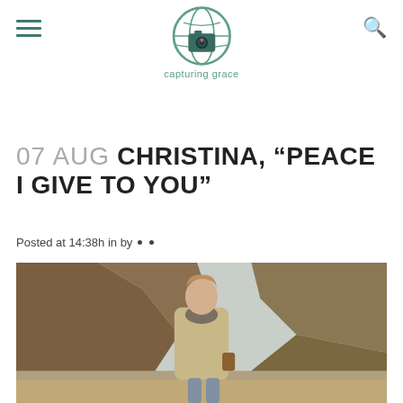capturing grace
07 AUG CHRISTINA, "PEACE I GIVE TO YOU"
Posted at 14:38h in by • •
[Figure (photo): Woman with reddish-blonde hair wearing a beige coat and dark scarf, standing on a sandy beach in front of rocky cliffs, smiling at the camera.]